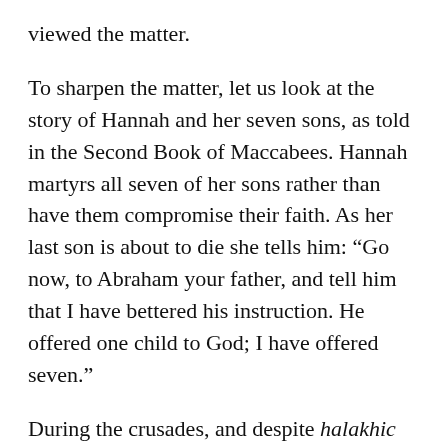viewed the matter.
To sharpen the matter, let us look at the story of Hannah and her seven sons, as told in the Second Book of Maccabees. Hannah martyrs all seven of her sons rather than have them compromise their faith. As her last son is about to die she tells him: “Go now, to Abraham your father, and tell him that I have bettered his instruction. He offered one child to God; I have offered seven.”
During the crusades, and despite halakhic rulings to the contrary, many Jews killed their own children before taking their own lives, rather than undergo forced baptisms. The story of the Akeida and images of Hannah were on their lips and in their minds as they raised the knife. Their acts have become part of Jewish mythology, and are remembered and even glorified in the Yom Kippur Martyrology service.